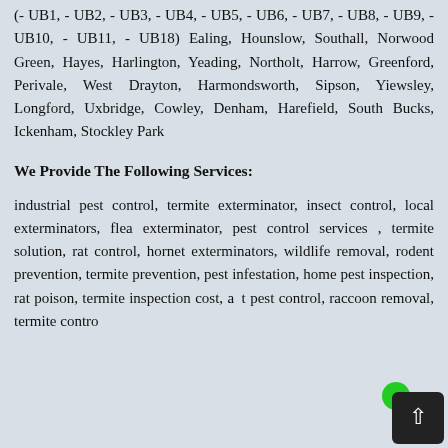(- UB1, - UB2, - UB3, - UB4, - UB5, - UB6, - UB7, - UB8, - UB9, - UB10, - UB11, - UB18) Ealing, Hounslow, Southall, Norwood Green, Hayes, Harlington, Yeading, Northolt, Harrow, Greenford, Perivale, West Drayton, Harmondsworth, Sipson, Yiewsley, Longford, Uxbridge, Cowley, Denham, Harefield, South Bucks, Ickenham, Stockley Park
We Provide The Following Services:
industrial pest control, termite exterminator, insect control, local exterminators, flea exterminator, pest control services , termite solution, rat control, hornet exterminators, wildlife removal, rodent prevention, termite prevention, pest infestation, home pest inspection, rat poison, termite inspection cost, ant pest control, raccoon removal, termite control